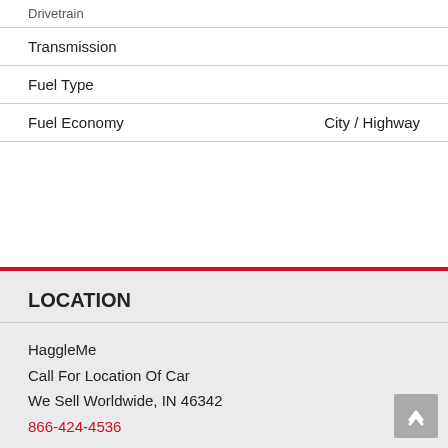Drivetrain
Transmission
Fuel Type
Fuel Economy	City / Highway
LOCATION
HaggleMe
Call For Location Of Car
We Sell Worldwide, IN 46342
866-424-4536